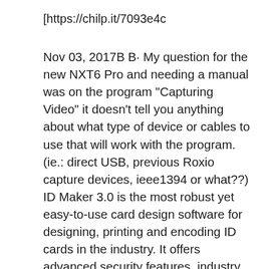[https://chilp.it/7093e4c
Nov 03, 2017В В· My question for the new NXT6 Pro and needing a manual was on the program "Capturing Video" it doesn't tell you anything about what type of device or cables to use that will work with the program. (ie.: direct USB, previous Roxio capture devices, ieee1394 or what??) ID Maker 3.0 is the most robust yet easy-to-use card design software for designing, printing and encoding ID cards in the industry. It offers advanced security features, industry leading user experience, enhanced print quality, customizable data collection, and lifetime вЋ¦